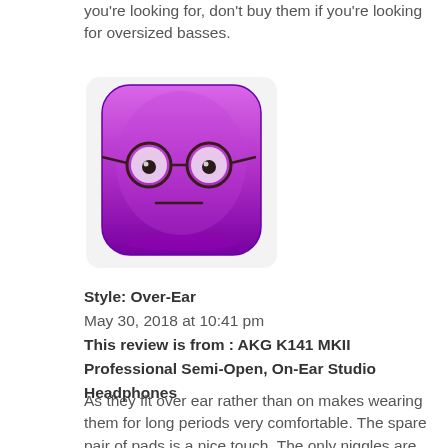you're looking for, don't buy them if you're looking for oversized basses.
[Figure (illustration): Purple cartoon avatar with glasses and neutral expression, square-ish rounded shape with gradient purple coloring]
Style: Over-Ear
May 30, 2018 at 10:41 pm
This review is from : AKG K141 MKII Professional Semi-Open, On-Ear Studio Headphones
As they fit over ear rather than on makes wearing them for long periods very comfortable. The spare pair of pads is a nice touch. The only niggles are the headband is ‘sprung’ so it sits very firm on the top of your head which after a while becomes uncomfortable so i end up moving the band back and forth. The ear pads are wide and can become uncomfortable on warm days.
[Figure (illustration): Purple cartoon avatar with glasses, partially visible at bottom of page]